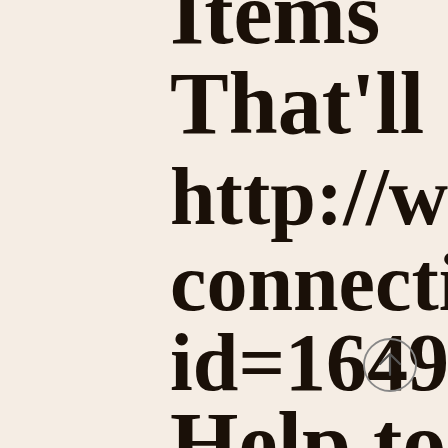Items That'll http://www connection id=1649 Help to
[Figure (illustration): Circular up-arrow icon (scroll to top button)]